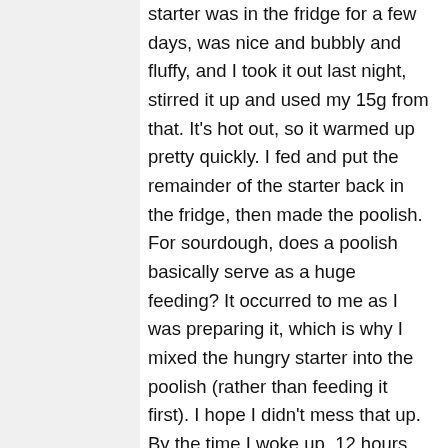starter was in the fridge for a few days, was nice and bubbly and fluffy, and I took it out last night, stirred it up and used my 15g from that. It's hot out, so it warmed up pretty quickly. I fed and put the remainder of the starter back in the fridge, then made the poolish. For sourdough, does a poolish basically serve as a huge feeding? It occurred to me as I was preparing it, which is why I mixed the hungry starter into the poolish (rather than feeding it first). I hope I didn't mess that up. By the time I woke up, 12 hours later, the poolish was mildly bubbly, and had a slightly alcoholic smell – the smell of my starter